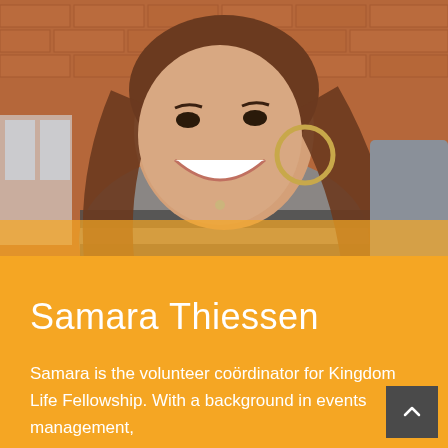[Figure (photo): Portrait photo of Samara Thiessen, a young woman with long brown hair, wearing a grey and black striped cardigan, smiling broadly, with hoop earrings, seated indoors in front of a brick wall.]
Samara Thiessen
Samara is the volunteer coördinator for Kingdom Life Fellowship. With a background in events management,